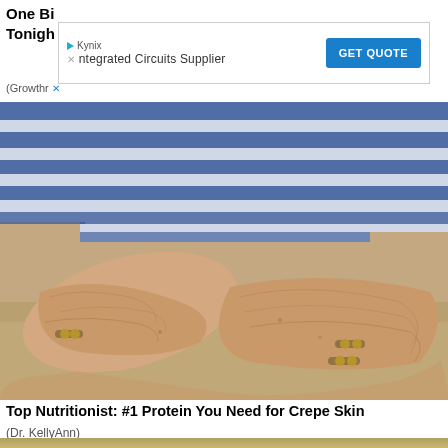One Bite Tonight
[Figure (other): Advertisement banner: Kynix - Integrated Circuits Supplier with GET QUOTE button]
[Figure (photo): Close-up photo of elderly person's crossed arms showing aged, wrinkled skin with bracelets, wearing a blue and white striped shirt]
Top Nutritionist: #1 Protein You Need for Crepe Skin
(Dr. KellyAnn)